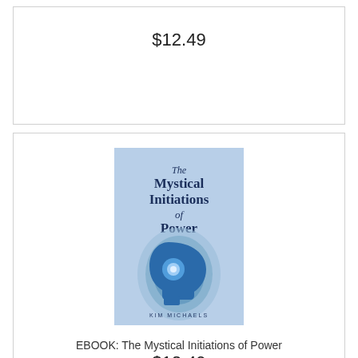$12.49
[Figure (illustration): Book cover of 'The Mystical Initiations of Power' by Kim Michaels. Light blue background with a glowing silhouette of a human head profile and concentric aura rings around the head. Title text in dark blue serif font at the top.]
EBOOK: The Mystical Initiations of Power
$12.49